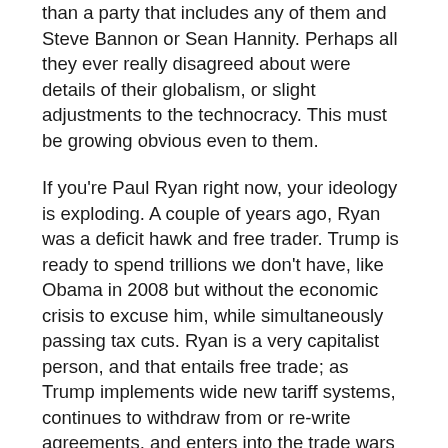than a party that includes any of them and Steve Bannon or Sean Hannity. Perhaps all they ever really disagreed about were details of their globalism, or slight adjustments to the technocracy. This must be growing obvious even to them.
If you're Paul Ryan right now, your ideology is exploding. A couple of years ago, Ryan was a deficit hawk and free trader. Trump is ready to spend trillions we don't have, like Obama in 2008 but without the economic crisis to excuse him, while simultaneously passing tax cuts. Ryan is a very capitalist person, and that entails free trade; as Trump implements wide new tariff systems, continues to withdraw from or re-write agreements, and enters into the trade wars he's been enthusing about on Twitter, Ryan's support grows ever-more incomprehensible.
In other words, the rise of “nationalism” and